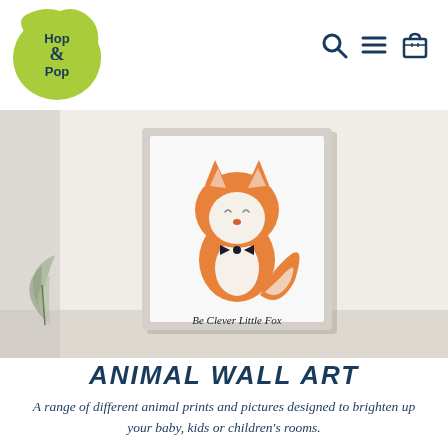[Figure (logo): Hop & Pop logo — green blob/circle with dark teal handwritten text 'Hop & Pop' inside]
[Figure (other): Navigation icons: search magnifying glass, hamburger menu lines, shopping bag — in dark navy blue]
[Figure (photo): Photo of a framed art print showing a cute illustrated fox with a bow tie and text 'Be Clever Little Fox', displayed on a shelf with a leaf plant beside it]
ANIMAL WALL ART
A range of different animal prints and pictures designed to brighten up your baby, kids or children's rooms.